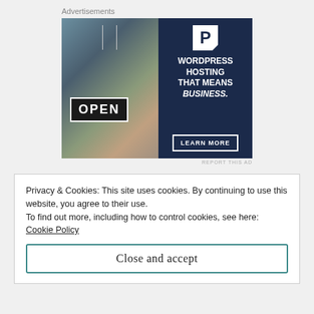Advertisements
[Figure (photo): Advertisement banner with two panels: left panel shows a woman smiling holding an OPEN sign in a shop window; right panel is dark navy with a P logo, text 'WORDPRESS HOSTING THAT MEANS BUSINESS.' and a 'LEARN MORE' button]
REPORT THIS AD
Privacy & Cookies: This site uses cookies. By continuing to use this website, you agree to their use.
To find out more, including how to control cookies, see here: Cookie Policy
Close and accept